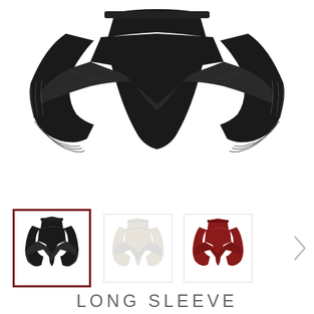[Figure (photo): Main product image: black off-shoulder peplum top with dramatic long flared bell sleeves, shown from the front on a white background]
[Figure (photo): Thumbnail row with three color variants of the same off-shoulder peplum top: black (selected, highlighted with dark red border), white/cream, and dark red/burgundy. A right navigation arrow is visible.]
LONG SLEEVE